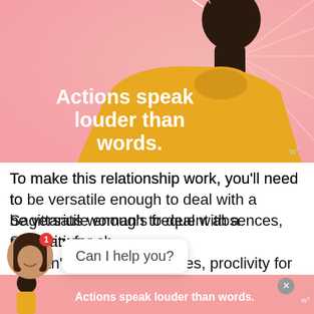[Figure (illustration): Illustration of a person with dark skin in a yellow turtleneck viewed from the side/back against a pink radiating background. Bold white text overlay reads 'Actions speak louder than words.' Small logo 'w°' in bottom right of illustration.]
To make this relationship work, you'll need to be versatile enough to deal with a Sagittarius woman's frequent absences, proclivity for changing plans at the last minute, or simply ing...
[Figure (screenshot): Chat widget overlay: circular avatar of a woman with dark hair smiling, red badge showing '1', and a white speech bubble saying 'Can I help you?']
Getting worked up or upset at her won't help;
[Figure (illustration): Bottom advertisement banner with pink background showing a dark-skinned person in yellow, bold white text 'Actions speak louder than words.' with an X close button and 'w°' logo.]